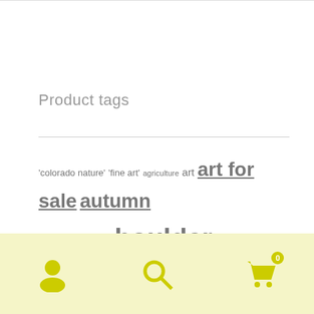Product tags
'colorado nature' 'fine art' agriculture art art for sale autumn beautiful blue boulder county canvas art canvas art prints canvas wall art canvas wraps colorado colorado canvas art colorful countryside creek fall foliage forest for sale front range james bo insogna james insogna landscape landscapes mountain mountains nature nature pictures Panorama